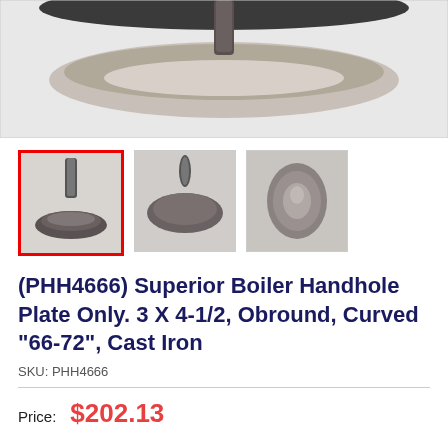[Figure (photo): Close-up photo of a cast iron boiler handhole plate with a stem/bolt, shown from a top-front angle against a light background. Only the bottom portion of the product is visible.]
[Figure (photo): Three thumbnail images of the handhole plate from different angles: front-side view (selected, red border), top-down view, and face-on oval view.]
(PHH4666) Superior Boiler Handhole Plate Only. 3 X 4-1/2, Obround, Curved "66-72", Cast Iron
SKU: PHH4666
Price: $202.13